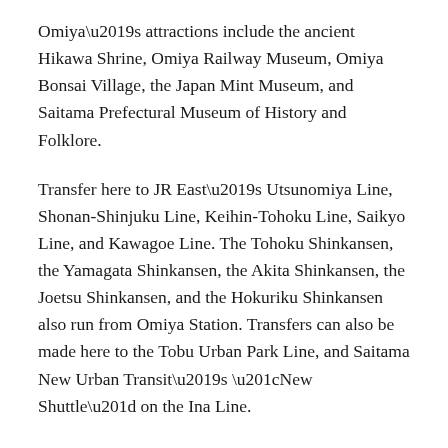Omiya's attractions include the ancient Hikawa Shrine, Omiya Railway Museum, Omiya Bonsai Village, the Japan Mint Museum, and Saitama Prefectural Museum of History and Folklore.
Transfer here to JR East's Utsunomiya Line, Shonan-Shinjuku Line, Keihin-Tohoku Line, Saikyo Line, and Kawagoe Line. The Tohoku Shinkansen, the Yamagata Shinkansen, the Akita Shinkansen, the Joetsu Shinkansen, and the Hokuriku Shinkansen also run from Omiya Station. Transfers can also be made here to the Tobu Urban Park Line, and Saitama New Urban Transit's “New Shuttle” on the Ina Line.
¥   Train fare: 470 yen
Train time: 25 minutes